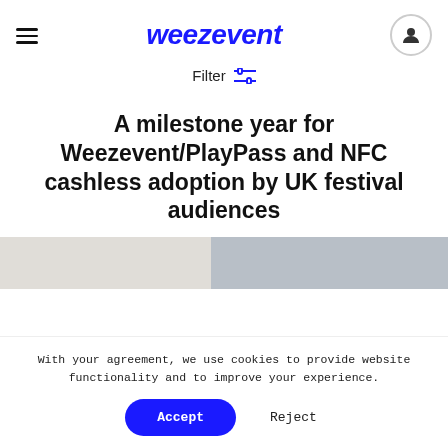weezevent
Filter
A milestone year for Weezevent/PlayPass and NFC cashless adoption by UK festival audiences
[Figure (photo): Partial image of a festival scene, split with light and darker halves]
With your agreement, we use cookies to provide website functionality and to improve your experience.
Accept   Reject